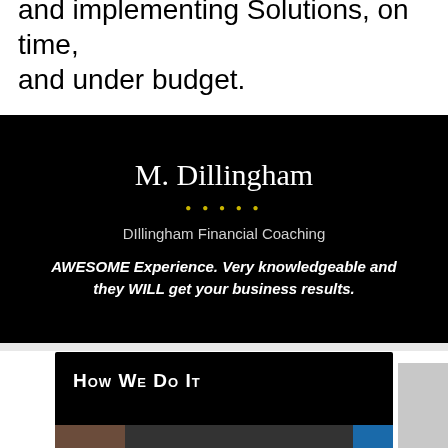and implementing Solutions, on time, and under budget.
M. Dillingham
DIllingham Financial Coaching
AWESOME Experience. Very knowledgeable and they WILL get your business results.
How We Do It
[Figure (photo): Bottom strip showing partial images of people and a blue element]